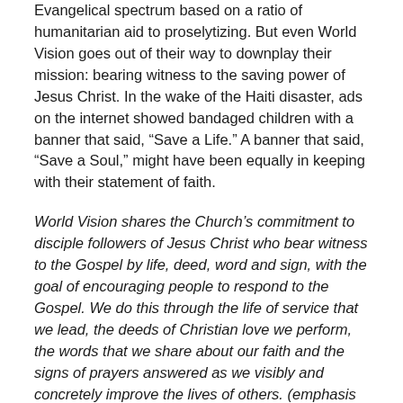Evangelical spectrum based on a ratio of humanitarian aid to proselytizing. But even World Vision goes out of their way to downplay their mission: bearing witness to the saving power of Jesus Christ. In the wake of the Haiti disaster, ads on the internet showed bandaged children with a banner that said, “Save a Life.” A banner that said, “Save a Soul,” might have been equally in keeping with their statement of faith.
World Vision shares the Church’s commitment to disciple followers of Jesus Christ who bear witness to the Gospel by life, deed, word and sign, with the goal of encouraging people to respond to the Gospel. We do this through the life of service that we lead, the deeds of Christian love we perform, the words that we share about our faith and the signs of prayers answered as we visibly and concretely improve the lives of others. (emphasis theirs).